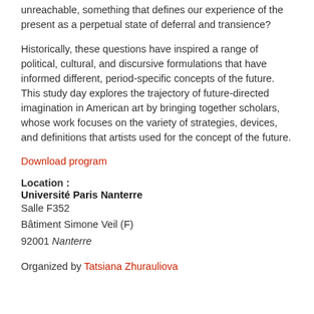unreachable, something that defines our experience of the present as a perpetual state of deferral and transience?
Historically, these questions have inspired a range of political, cultural, and discursive formulations that have informed different, period-specific concepts of the future. This study day explores the trajectory of future-directed imagination in American art by bringing together scholars, whose work focuses on the variety of strategies, devices, and definitions that artists used for the concept of the future.
Download program
Location : Université Paris Nanterre
Salle F352
Bâtiment Simone Veil (F)
92001 Nanterre
Organized by Tatsiana Zhurauliova